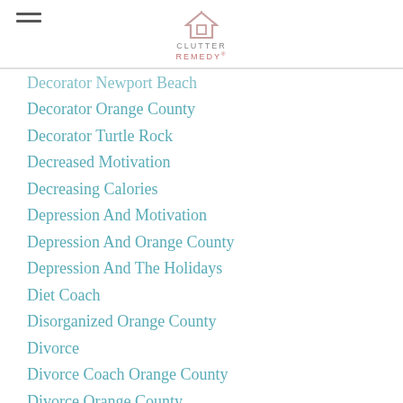Clutter Remedy
Decorator Newport Beach
Decorator Orange County
Decorator Turtle Rock
Decreased Motivation
Decreasing Calories
Depression And Motivation
Depression And Orange County
Depression And The Holidays
Diet Coach
Disorganized Orange County
Divorce
Divorce Coach Orange County
Divorce Orange County
Divorce Workshop Orange County
Do I Have Ocd
Dream Journal
Dreams And Creativity
Dreams And Inventions